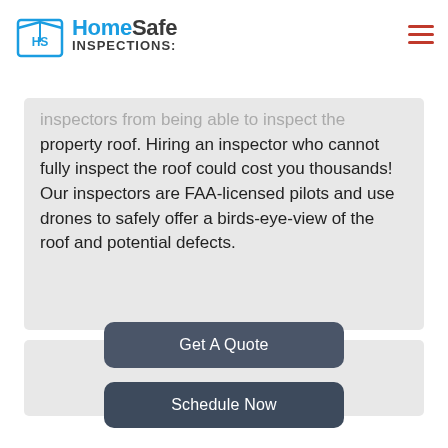HomeSafe Inspections
inspectors from being able to inspect the property roof. Hiring an inspector who cannot fully inspect the roof could cost you thousands! Our inspectors are FAA-licensed pilots and use drones to safely offer a birds-eye-view of the roof and potential defects.
Get A Quote
Schedule Now